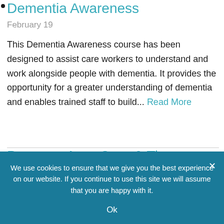Dementia Awareness
February 19
This Dementia Awareness course has been designed to assist care workers to understand and work alongside people with dementia. It provides the opportunity for a greater understanding of dementia and enables trained staff to build... Read More
Pressure Area Care & Tissue
We use cookies to ensure that we give you the best experience on our website. If you continue to use this site we will assume that you are happy with it.
Ok